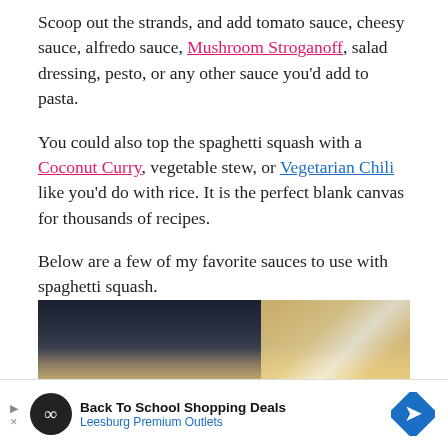Scoop out the strands, and add tomato sauce, cheesy sauce, alfredo sauce, Mushroom Stroganoff, salad dressing, pesto, or any other sauce you'd add to pasta.
You could also top the spaghetti squash with a Coconut Curry, vegetable stew, or Vegetarian Chili like you'd do with rice. It is the perfect blank canvas for thousands of recipes.
Below are a few of my favorite sauces to use with spaghetti squash.
[Figure (photo): Partial photo of spaghetti squash dish, dark background with golden/yellow squash visible on the right side]
Back To School Shopping Deals Leesburg Premium Outlets